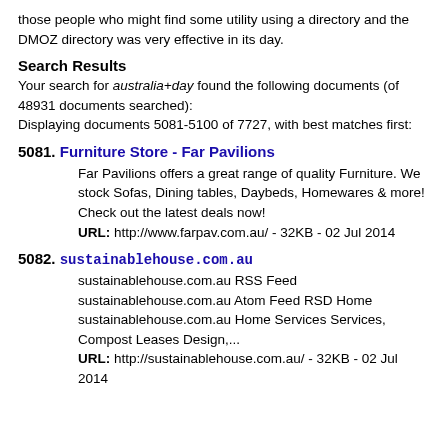those people who might find some utility using a directory and the DMOZ directory was very effective in its day.
Search Results
Your search for australia+day found the following documents (of 48931 documents searched):
Displaying documents 5081-5100 of 7727, with best matches first:
5081. Furniture Store - Far Pavilions
Far Pavilions offers a great range of quality Furniture. We stock Sofas, Dining tables, Daybeds, Homewares & more! Check out the latest deals now!
URL: http://www.farpav.com.au/ - 32KB - 02 Jul 2014
5082. sustainablehouse.com.au
sustainablehouse.com.au RSS Feed sustainablehouse.com.au Atom Feed RSD Home sustainablehouse.com.au Home Services Services, Compost Leases Design,...
URL: http://sustainablehouse.com.au/ - 32KB - 02 Jul 2014